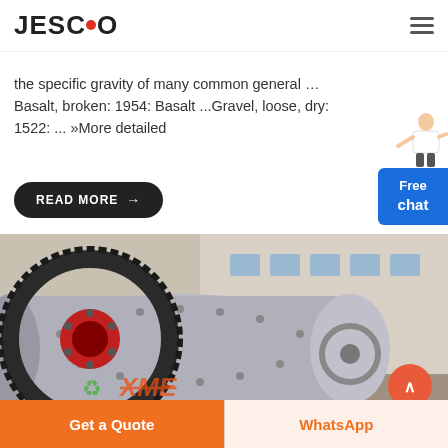JESCO
the specific gravity of many common general … Basalt, broken: 1954: Basalt ...Gravel, loose, dry: 1522: ... »More detailed
READ MORE →
[Figure (photo): Industrial ball mill machinery with large gear ring, shown in a factory/yard setting. XME watermark visible at bottom.]
Get a Quote
WhatsApp